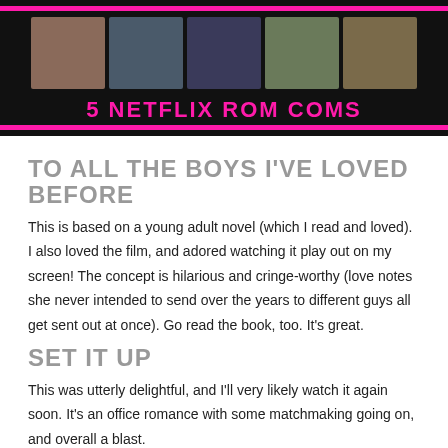[Figure (illustration): Banner image showing 5 Netflix rom-com movie thumbnails on a black background with pink accent bars, and the title '5 NETFLIX ROM COMS' in pink text]
TO ALL THE BOYS I'VE LOVED BEFORE
This is based on a young adult novel (which I read and loved). I also loved the film, and adored watching it play out on my screen! The concept is hilarious and cringe-worthy (love notes she never intended to send over the years to different guys all get sent out at once). Go read the book, too. It's great.
SET IT UP
This was utterly delightful, and I'll very likely watch it again soon. It's an office romance with some matchmaking going on, and overall a blast.